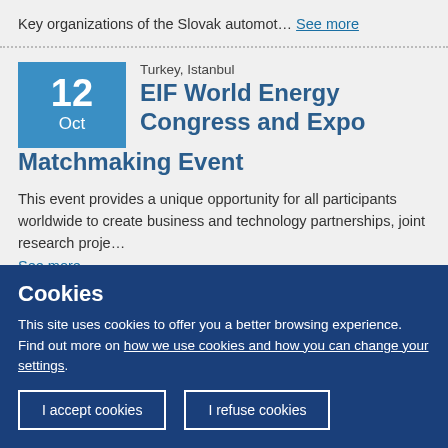Key organizations of the Slovak automot… See more
Turkey, Istanbul
EIF World Energy Congress and Expo Matchmaking Event
This event provides a unique opportunity for all participants worldwide to create business and technology partnerships, joint research proje…
See more
Cookies
This site uses cookies to offer you a better browsing experience. Find out more on how we use cookies and how you can change your settings.
I accept cookies
I refuse cookies